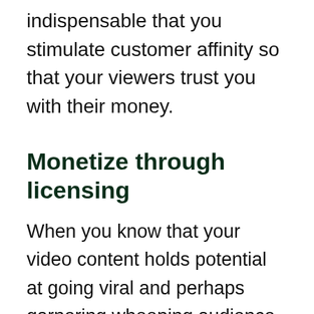indispensable that you stimulate customer affinity so that your viewers trust you with their money.
Monetize through licensing
When you know that your video content holds potential at going viral and perhaps garnering whooping audience engagement levels, you can sell off your video to YouTube in exchange for a price. Even independent media houses or other business entities are always looking to purchase content material that they can showcase on their own. You can create striking